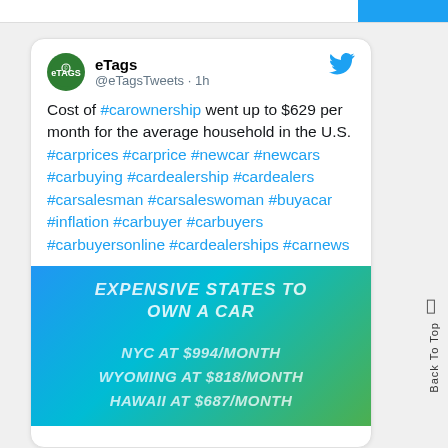eTags @eTagsTweets · 1h
Cost of #carownership went up to $629 per month for the average household in the U.S. #carprices #carprice #newcar #newcars #carbuying #cardealership #cardealers #carsalesman #carsaleswoman #buyacar #inflation #carbuyer #carbuyers #carbuyersonline #cardealerships #carnews
[Figure (infographic): Gradient blue-green infographic titled 'EXPENSIVE STATES TO OWN A CAR' listing NYC AT $994/MONTH, WYOMING AT $818/MONTH, HAWAII AT $687/MONTH]